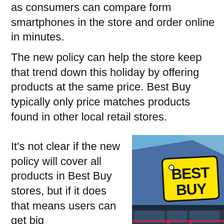as consumers can compare form smartphones in the store and order online in minutes.
The new policy can help the store keep that trend down this holiday by offering products at the same price. Best Buy typically only price matches products found in other local retail stores.
It's not clear if the new policy will cover all products in Best Buy stores, but if it does that means users can get big
[Figure (photo): Exterior photo of a Best Buy store building with the yellow Best Buy logo sign on a blue wall, shot from a low angle against a blue sky.]